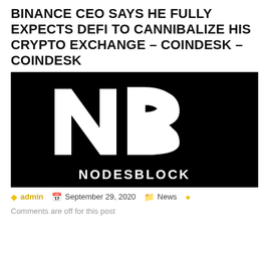BINANCE CEO SAYS HE FULLY EXPECTS DEFI TO CANNIBALIZE HIS CRYPTO EXCHANGE – COINDESK – COINDESK
[Figure (logo): NodesBlock logo: black background with white 'NB' monogram and 'NODESBLOCK' text below]
admin  September 29, 2020  News
Comments are off for this post